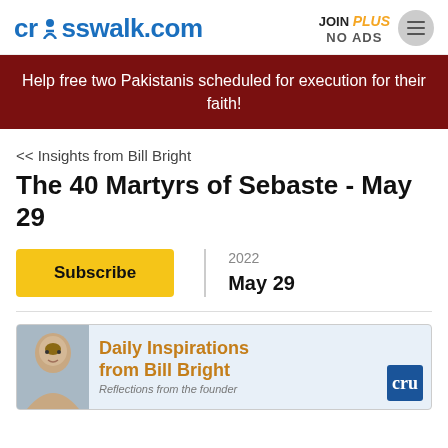crosswalk.com | JOIN PLUS NO ADS
Help free two Pakistanis scheduled for execution for their faith!
<< Insights from Bill Bright
The 40 Martyrs of Sebaste - May 29
Subscribe | 2022 May 29
[Figure (illustration): Daily Inspirations from Bill Bright - Reflections from the founder, ad banner with photo of Bill Bright and Cru logo]